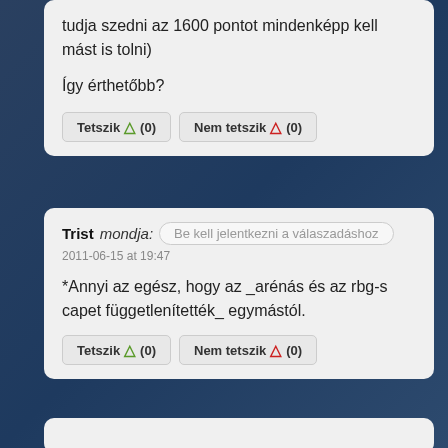tudja szedni az 1600 pontot mindenképp kell mást is tolni)
Így érthetőbb?
Tetszik (0)  Nem tetszik (0)
Trist mondja: Be kell jelentkezni a válaszadáshoz
2011-06-15 at 19:47
*Annyi az egész, hogy az _arénás és az rbg-s capet függetlenítették_ egymástól.
Tetszik (0)  Nem tetszik (0)